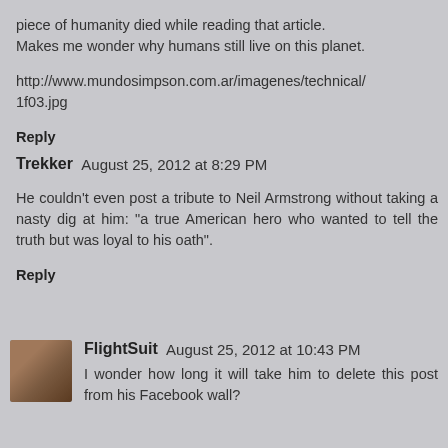piece of humanity died while reading that article. Makes me wonder why humans still live on this planet.
http://www.mundosimpson.com.ar/imagenes/technical/1f03.jpg
Reply
Trekker  August 25, 2012 at 8:29 PM
He couldn't even post a tribute to Neil Armstrong without taking a nasty dig at him: "a true American hero who wanted to tell the truth but was loyal to his oath".
Reply
FlightSuit  August 25, 2012 at 10:43 PM
I wonder how long it will take him to delete this post from his Facebook wall?